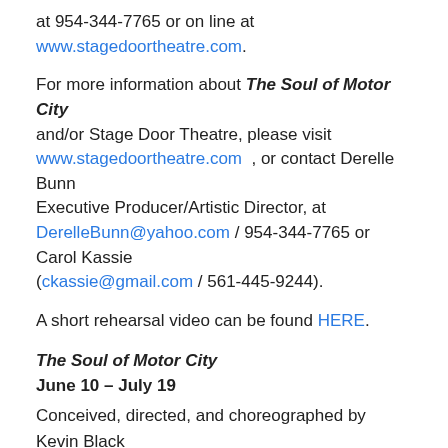at 954-344-7765 or on line at www.stagedoortheatre.com.
For more information about The Soul of Motor City and/or Stage Door Theatre, please visit www.stagedoortheatre.com , or contact Derelle Bunn Executive Producer/Artistic Director, at DerelleBunn@yahoo.com / 954-344-7765 or Carol Kassie (ckassie@gmail.com / 561-445-9244).
A short rehearsal video can be found HERE.
The Soul of Motor City
June 10 – July 19
Conceived, directed, and choreographed by Kevin Black
Musical direction:  Ben Bagby
Lighting Design by Ardean Landhuis
Set Design by Michael McClain